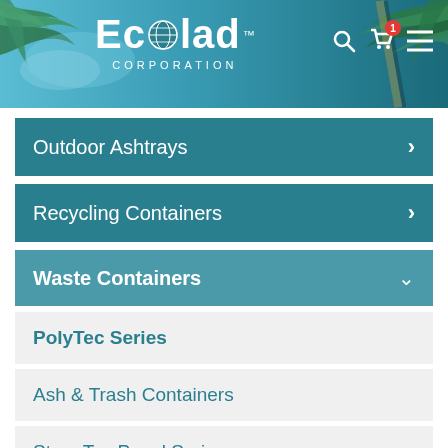[Figure (screenshot): Ecolad Corporation website header with logo and palm tree background]
Outdoor Ashtrays
Recycling Containers
Waste Containers
PolyTec Series
Ash & Trash Containers
StoneTec Panel Series
Precision Series
ArchTec Series
Leafview Series